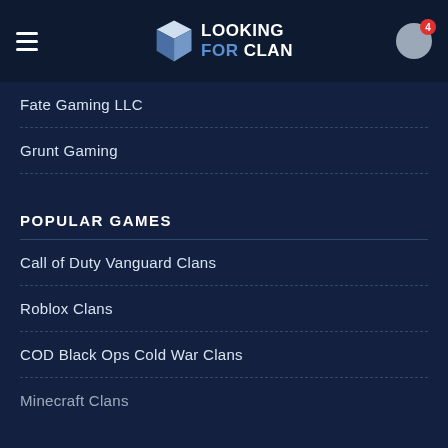LOOKING FOR CLAN — navigation header with hamburger menu, logo, and user badge (4)
Fate Gaming LLC
Grunt Gaming
POPULAR GAMES
Call of Duty Vanguard Clans
Roblox Clans
COD Black Ops Cold War Clans
Minecraft Clans (partially visible)